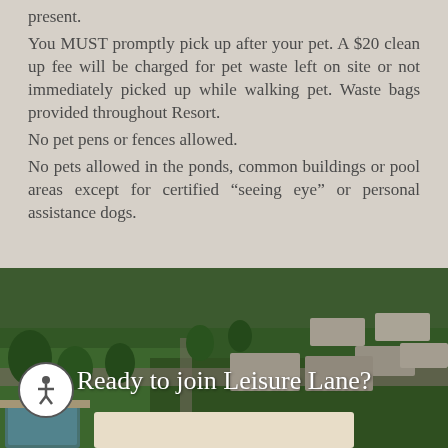present.
You MUST promptly pick up after your pet. A $20 clean up fee will be charged for pet waste left on site or not immediately picked up while walking pet. Waste bags provided throughout Resort.
No pet pens or fences allowed.
No pets allowed in the ponds, common buildings or pool areas except for certified “seeing eye” or personal assistance dogs.
[Figure (photo): Aerial view of an RV resort showing multiple RVs parked in rows with green grass, trees, a pool area, and a banner overlay reading 'Ready to join Leisure Lane?']
Ready to join Leisure Lane?